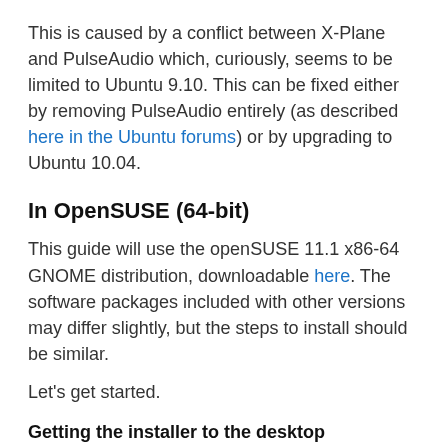This is caused by a conflict between X-Plane and PulseAudio which, curiously, seems to be limited to Ubuntu 9.10. This can be fixed either by removing PulseAudio entirely (as described here in the Ubuntu forums) or by upgrading to Ubuntu 10.04.
In OpenSUSE (64-bit)
This guide will use the openSUSE 11.1 x86-64 GNOME distribution, downloadable here. The software packages included with other versions may differ slightly, but the steps to install should be similar.
Let's get started.
Getting the installer to the desktop
First, insert X-Plane 9 Disc 1 into the computer's DVD drive. If the File Browser does not appear